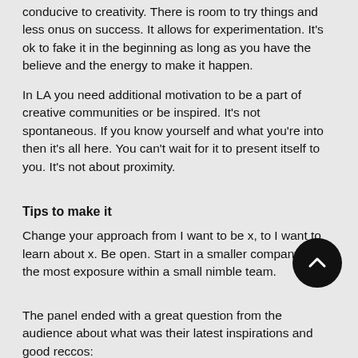conducive to creativity. There is room to try things and less onus on success. It allows for experimentation. It's ok to fake it in the beginning as long as you have the believe and the energy to make it happen.
In LA you need additional motivation to be a part of creative communities or be inspired. It's not spontaneous. If you know yourself and what you're into then it's all here. You can't wait for it to present itself to you. It's not about proximity.
Tips to make it
Change your approach from I want to be x, to I want to learn about x. Be open. Start in a smaller company to get the most exposure within a small nimble team.
The panel ended with a great question from the audience about what was their latest inspirations and good reccos:
Eyeo